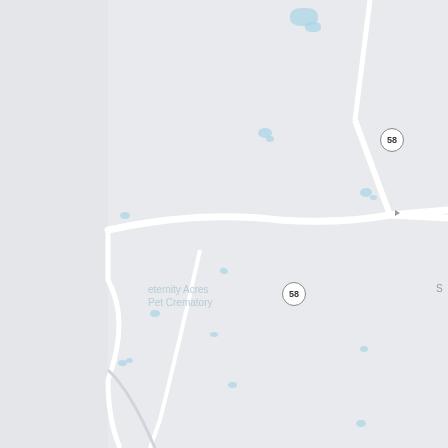[Figure (map): Google Maps screenshot showing a rural area with road 58, and a red map pin marking the location of Eternity Acres Pet Crematory. The map background is light gray/blue with white roads and small blue water features scattered around.]